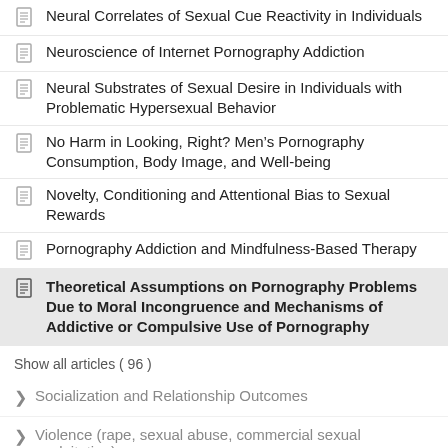Neural Correlates of Sexual Cue Reactivity in Individuals
Neuroscience of Internet Pornography Addiction
Neural Substrates of Sexual Desire in Individuals with Problematic Hypersexual Behavior
No Harm in Looking, Right? Men's Pornography Consumption, Body Image, and Well-being
Novelty, Conditioning and Attentional Bias to Sexual Rewards
Pornography Addiction and Mindfulness-Based Therapy
Theoretical Assumptions on Pornography Problems Due to Moral Incongruence and Mechanisms of Addictive or Compulsive Use of Pornography
Show all articles ( 96 )
Socialization and Relationship Outcomes
Violence (rape, sexual abuse, commercial sexual exploitation)
Discrimination and...